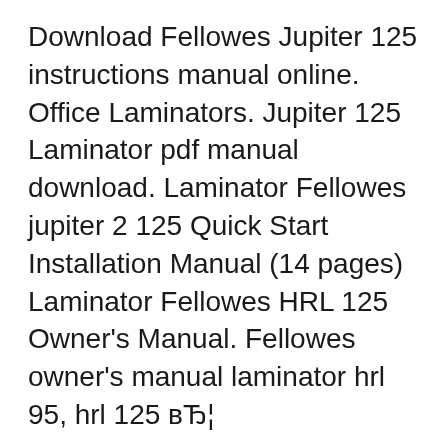Download Fellowes Jupiter 125 instructions manual online. Office Laminators. Jupiter 125 Laminator pdf manual download. Laminator Fellowes jupiter 2 125 Quick Start Installation Manual (14 pages) Laminator Fellowes HRL 125 Owner's Manual. Fellowes owner's manual laminator hrl 95, hrl 125 вЂ¦
Top Rated Large Office Laminator Jupiterв„ў 2 125 Laminator with Pouch Starter Kit. 80% Of 20 Customers Would Recommend This Product. See the reviews. This high performance Jupiter 2 delivers heavy usage laminating capabilities for busy offices. Find the office and computer equipment manual